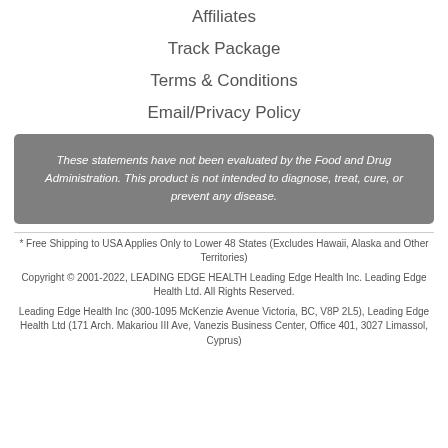Affiliates
Track Package
Terms & Conditions
Email/Privacy Policy
These statements have not been evaluated by the Food and Drug Administration. This product is not intended to diagnose, treat, cure, or prevent any disease.
* Free Shipping to USA Applies Only to Lower 48 States (Excludes Hawaii, Alaska and Other Territories)
Copyright © 2001-2022, LEADING EDGE HEALTH Leading Edge Health Inc. Leading Edge Health Ltd. All Rights Reserved. Leading Edge Health Inc (300-1095 McKenzie Avenue Victoria, BC, V8P 2L5), Leading Edge Health Ltd (171 Arch. Makariou III Ave, Vanezis Business Center, Office 401, 3027 Limassol, Cyprus)